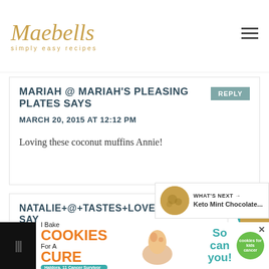Maebells simply easy recipes
MARIAH @ MARIAH'S PLEASING PLATES SAYS
MARCH 20, 2015 AT 12:12 PM
Loving these coconut muffins Annie!
NATALIE+@+TASTES+LOVELY SAYS
MARCH 20, 2015 AT 2:21 PM
I just love coconut! So smart using coconut in the muffins. The more coconut flavor the
[Figure (other): Advertisement banner: I Bake COOKIES For A CURE with Haldora, 11 Cancer Survivor. So can you! cookies for kids cancer.]